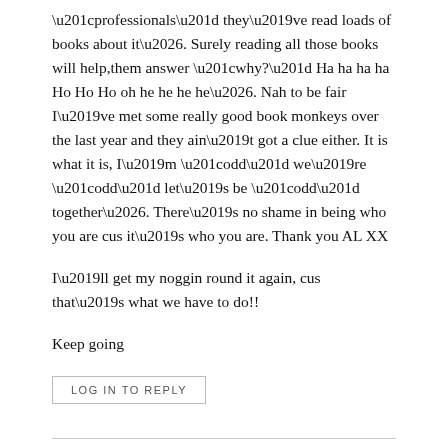“professionals” they’ve read loads of books about it…. Surely reading all those books will help,them answer “why?” Ha ha ha ha Ho Ho Ho oh he he he he…. Nah to be fair I’ve met some really good book monkeys over the last year and they ain’t got a clue either. It is what it is, I’m “odd” we’re “odd” let’s be “odd” together…. There’s no shame in being who you are cus it’s who you are. Thank you AL XX
I’ll get my noggin round it again, cus that’s what we have to do!!
Keep going
LOG IN TO REPLY
Leave a Reply
You must be logged in to post a comment.